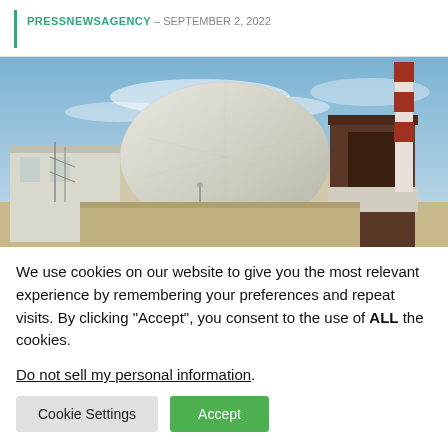PRESSNEWSAGENCY – SEPTEMBER 2, 2022
[Figure (photo): Nuclear power plant building with a large white dome reactor and a tall red-and-white striped chimney stack, under a blue sky with light clouds.]
We use cookies on our website to give you the most relevant experience by remembering your preferences and repeat visits. By clicking "Accept", you consent to the use of ALL the cookies.
Do not sell my personal information.
Cookie Settings   Accept